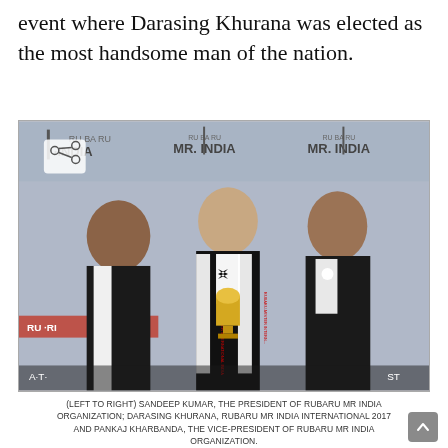event where Darasing Khurana was elected as the most handsome man of the nation.
[Figure (photo): Three men standing in front of a Rubaru Mr India backdrop. The man on the left wears a black vest over a white shirt. The man in the center wears a black tuxedo suit with a bow tie and two sashes reading 'RUBARU-MISTER INTERNATIONAL INDIA' and holds a golden trophy. The man on the right wears a dark suit. A share icon is visible in the upper-left corner of the photo.]
(LEFT TO RIGHT) SANDEEP KUMAR, THE PRESIDENT OF RUBARU MR INDIA ORGANIZATION; DARASING KHURANA, RUBARU MR INDIA INTERNATIONAL 2017 AND PANKAJ KHARBANDA, THE VICE-PRESIDENT OF RUBARU MR INDIA ORGANIZATION.